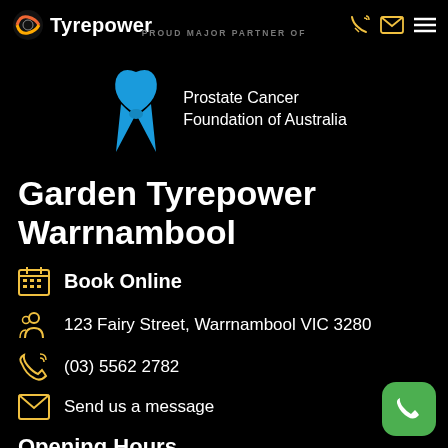Tyrepower | PROUD MAJOR PARTNER OF
[Figure (logo): Tyrepower logo with circular orange/red icon]
[Figure (logo): Prostate Cancer Foundation of Australia ribbon logo in blue]
Prostate Cancer Foundation of Australia
Garden Tyrepower Warrnambool
Book Online
123 Fairy Street, Warrnambool VIC 3280
(03) 5562 2782
Send us a message
Opening Hours